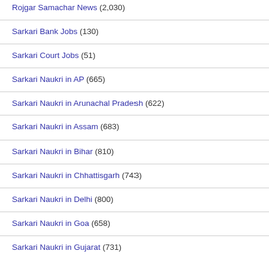Rojgar Samachar News (2,030)
Sarkari Bank Jobs (130)
Sarkari Court Jobs (51)
Sarkari Naukri in AP (665)
Sarkari Naukri in Arunachal Pradesh (622)
Sarkari Naukri in Assam (683)
Sarkari Naukri in Bihar (810)
Sarkari Naukri in Chhattisgarh (743)
Sarkari Naukri in Delhi (800)
Sarkari Naukri in Goa (658)
Sarkari Naukri in Gujarat (731)